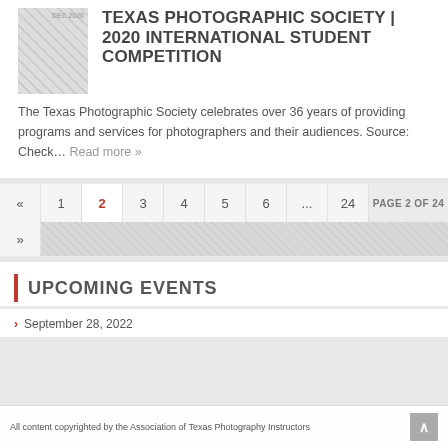TEXAS PHOTOGRAPHIC SOCIETY | 2020 INTERNATIONAL STUDENT COMPETITION
The Texas Photographic Society celebrates over 36 years of providing programs and services for photographers and their audiences. Source: Check… Read more »
« 1 2 3 4 5 6 ... 24  PAGE 2 OF 24  »
UPCOMING EVENTS
September 28, 2022
All content copyrighted by the Association of Texas Photography Instructors